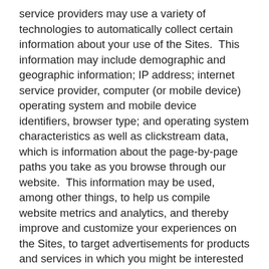service providers may use a variety of technologies to automatically collect certain information about your use of the Sites.  This information may include demographic and geographic information; IP address; internet service provider, computer (or mobile device) operating system and mobile device identifiers, browser type; and operating system characteristics as well as clickstream data, which is information about the page-by-page paths you take as you browse through our website.  This information may be used, among other things, to help us compile website metrics and analytics, and thereby improve and customize your experiences on the Sites, to target advertisements for products and services in which you might be interested based on your visits to the Sites, to prevent you from seeing the same advertisements too many times, or to conduct research regarding the